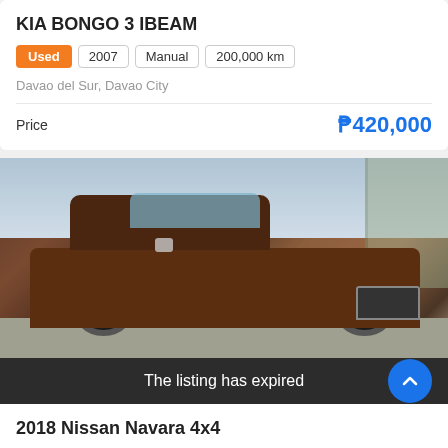KIA BONGO 3 IBEAM
Used | 2007 | Manual | 200,000 km
Davao del Sur, Davao City
Price ₱420,000
[Figure (photo): Photo of a brown Nissan Navara pickup truck with an expired listing overlay]
The listing has expired
2018 Nissan Navara 4x4
Used | 2018 | Manual | 16,100 km